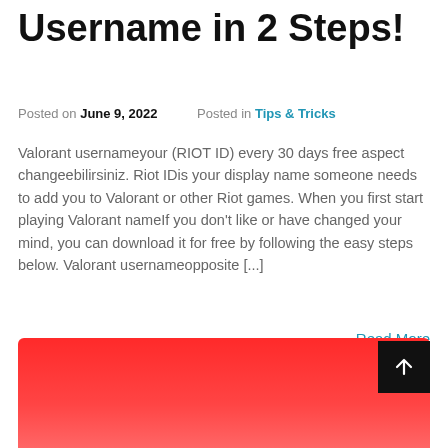Username in 2 Steps!
Posted on June 9, 2022    Posted in Tips & Tricks
Valorant usernameyour (RIOT ID) every 30 days free aspect changeebilirsiniz. Riot IDis your display name someone needs to add you to Valorant or other Riot games. When you first start playing Valorant nameIf you don't like or have changed your mind, you can download it for free by following the easy steps below. Valorant usernameopposite [...]
Read More
[Figure (illustration): Red gradient banner/card image partially visible at bottom of page with a dark scroll-to-top button overlay]